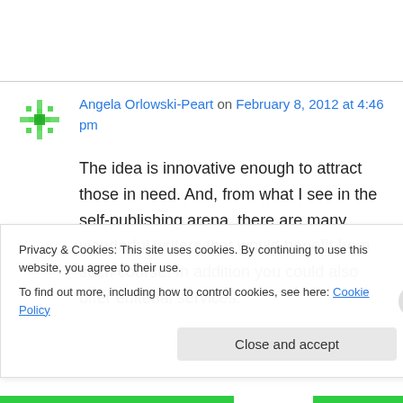Angela Orlowski-Peart on February 8, 2012 at 4:46 pm
The idea is innovative enough to attract those in need. And, from what I see in the self-publishing arena, there are many wonderful writers that would benefit from such course. In addition you could also offer editorial services.
Privacy & Cookies: This site uses cookies. By continuing to use this website, you agree to their use.
To find out more, including how to control cookies, see here: Cookie Policy